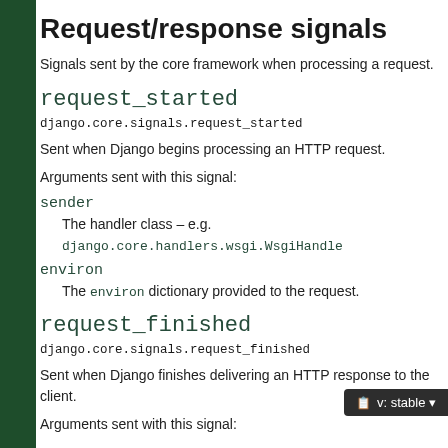Request/response signals
Signals sent by the core framework when processing a request.
request_started
django.core.signals.request_started
Sent when Django begins processing an HTTP request.
Arguments sent with this signal:
sender
The handler class – e.g. django.core.handlers.wsgi.WsgiHandler.
environ
The environ dictionary provided to the request.
request_finished
django.core.signals.request_finished
Sent when Django finishes delivering an HTTP response to the client.
Arguments sent with this signal: